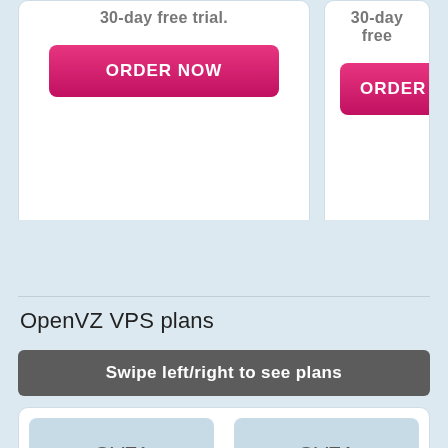[Figure (screenshot): Two pricing cards partially visible at top; left card shows strikethrough text '30-day free trial' and a pink ORDER NOW button; right card partially cut off showing same elements]
OpenVZ VPS plans
Swipe left/right to see plans
[Figure (screenshot): Two VPS plan cards at bottom: OVZ1 on left with price starting at $6.00/mo, OVZA on right with price starting at $12.00/mo]